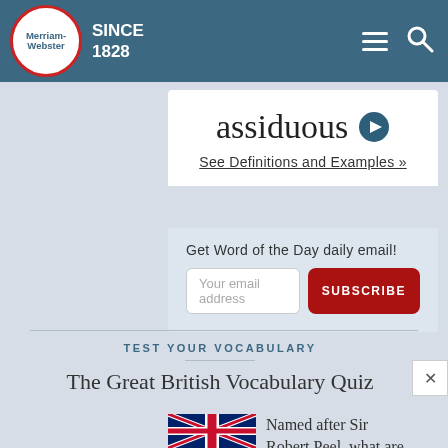Merriam-Webster SINCE 1828
assiduous
See Definitions and Examples »
Get Word of the Day daily email!
Your email address
SUBSCRIBE
TEST YOUR VOCABULARY
The Great British Vocabulary Quiz
Named after Sir Robert Peel, what are British...